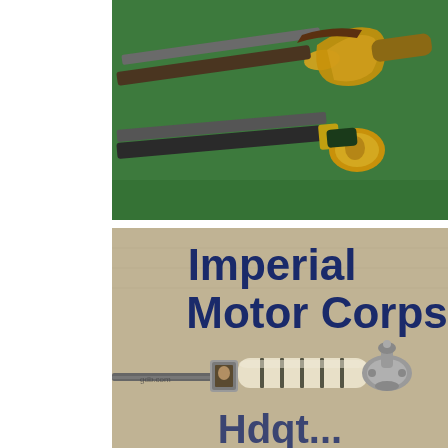[Figure (photo): Two antique swords/sabers with ornate brass and gold-colored hilts/guards resting on a green felt surface. The scabbards are dark leather/metal. One has an elaborate basket guard with decorative gilt metalwork and a carved grip.]
[Figure (photo): Close-up photo of a sword/dagger handle with ivory or bone grip with dark rings, ornate silver crossguard with a portrait medallion, and a decorative pommel. Text overlay reads 'Imperial Motor Corps' in large bold dark blue letters on a tan/linen background. Watermark text 'gdb.com' visible on the blade. Partial text visible at bottom appears to read additional words.]